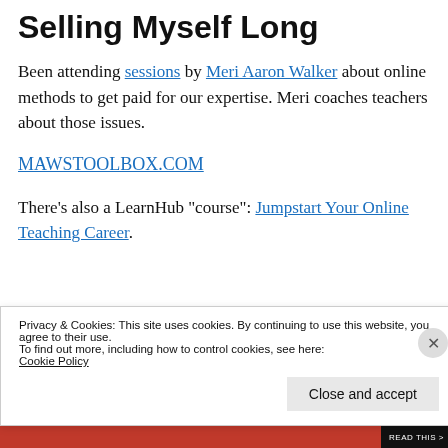Selling Myself Long
Been attending sessions by Meri Aaron Walker about online methods to get paid for our expertise. Meri coaches teachers about those issues.
MAWSTOOLBOX.COM
There's also a LearnHub "course": Jumpstart Your Online Teaching Career.
Privacy & Cookies: This site uses cookies. By continuing to use this website, you agree to their use.
To find out more, including how to control cookies, see here:
Cookie Policy
Close and accept